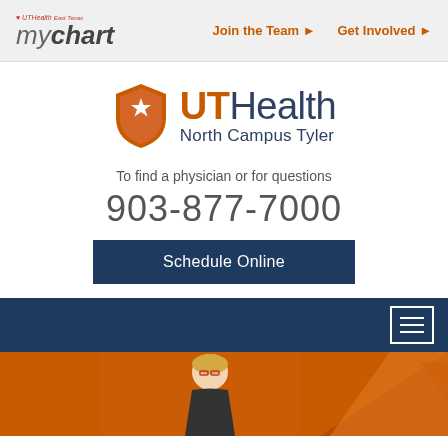myChart | Join the Team | Get Involved
[Figure (logo): UTHealth North Campus Tyler shield logo with orange shield containing star]
UTHealth North Campus Tyler
To find a physician or for questions
903-877-7000
Schedule Online
[Figure (photo): Woman with blonde hair and red glasses smiling, orange background with geometric shapes]